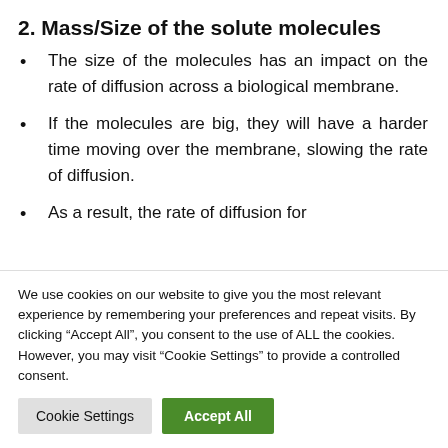2. Mass/Size of the solute molecules
The size of the molecules has an impact on the rate of diffusion across a biological membrane.
If the molecules are big, they will have a harder time moving over the membrane, slowing the rate of diffusion.
As a result, the rate of diffusion for
We use cookies on our website to give you the most relevant experience by remembering your preferences and repeat visits. By clicking “Accept All”, you consent to the use of ALL the cookies. However, you may visit "Cookie Settings" to provide a controlled consent.